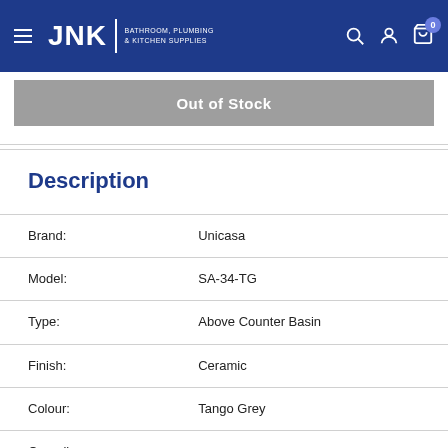JNK | BATHROOM, PLUMBING & KITCHEN SUPPLIES
Out of Stock
Description
|  |  |
| --- | --- |
| Brand: | Unicasa |
| Model: | SA-34-TG |
| Type: | Above Counter Basin |
| Finish: | Ceramic |
| Colour: | Tango Grey |
| Overall Dimensions: | Dia: 355mm x H:120mm |